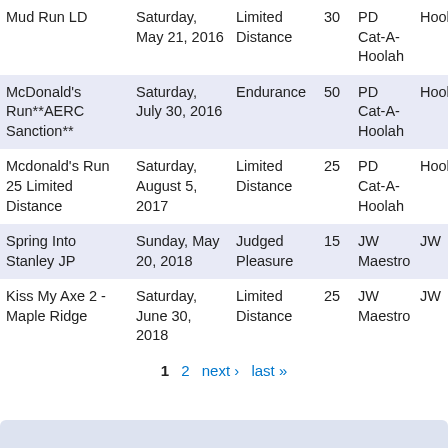|  |  |  |  |  |  |
| --- | --- | --- | --- | --- | --- |
| Mud Run LD | Saturday, May 21, 2016 | Limited Distance | 30 | PD Cat-A-Hoolah | Hooley |
| McDonald's Run**AERC Sanction** | Saturday, July 30, 2016 | Endurance | 50 | PD Cat-A-Hoolah | Hooley |
| Mcdonald's Run 25 Limited Distance | Saturday, August 5, 2017 | Limited Distance | 25 | PD Cat-A-Hoolah | Hooley |
| Spring Into Stanley JP | Sunday, May 20, 2018 | Judged Pleasure | 15 | JW Maestro | JW |
| Kiss My Axe 2 - Maple Ridge | Saturday, June 30, 2018 | Limited Distance | 25 | JW Maestro | JW |
1  2  next ›  last »